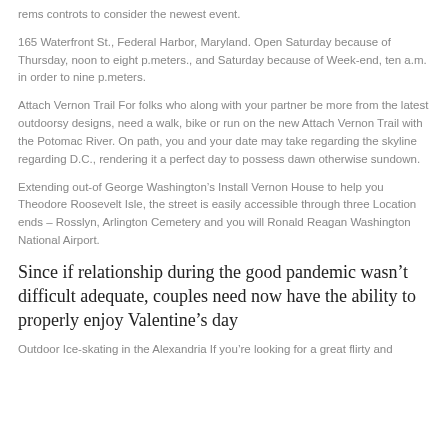rems controts to consider the newest event.
165 Waterfront St., Federal Harbor, Maryland. Open Saturday because of Thursday, noon to eight p.meters., and Saturday because of Week-end, ten a.m. in order to nine p.meters.
Attach Vernon Trail For folks who along with your partner be more from the latest outdoorsy designs, need a walk, bike or run on the new Attach Vernon Trail with the Potomac River. On path, you and your date may take regarding the skyline regarding D.C., rendering it a perfect day to possess dawn otherwise sundown.
Extending out-of George Washington’s Install Vernon House to help you Theodore Roosevelt Isle, the street is easily accessible through three Location ends – Rosslyn, Arlington Cemetery and you will Ronald Reagan Washington National Airport.
Since if relationship during the good pandemic wasn’t difficult adequate, couples need now have the ability to properly enjoy Valentine’s day
Outdoor Ice-skating in the Alexandria If you’re looking for a great flirty and